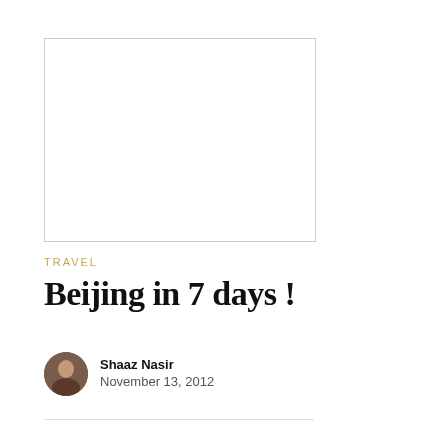[Figure (photo): Blank white image placeholder with light gray border]
TRAVEL
Beijing in 7 days !
Shaaz Nasir
November 13, 2012